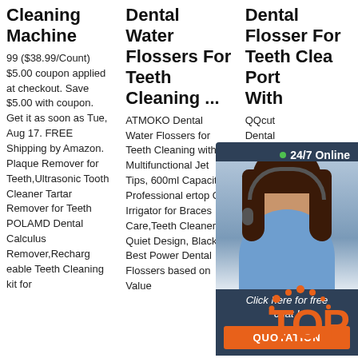Cleaning Machine
99 ($38.99/Count) $5.00 coupon applied at checkout. Save $5.00 with coupon. Get it as soon as Tue, Aug 17. FREE Shipping by Amazon. Plaque Remover for Teeth,Ultrasonic Tooth Cleaner Tartar Remover for Teeth POLAMD Dental Calculus Remover,Rechargeable Teeth Cleaning kit for
Dental Water Flossers For Teeth Cleaning ...
ATMOKO Dental Water Flossers for Teeth Cleaning with 8 Multifunctional Jet Tips, 600ml Capacity, Professional ertop Oral Irrigator for Braces Care,Teeth Cleaner, Quiet Design, Black. Best Power Dental Flossers based on Value
Dental Flosser For Teeth Clean Port With
QQcut Dental For Tee Portab Multifu Tips E Irrigato Capac Pressure Countertop For Family Home,Use : They are incredibly sensitive to be exceptionally
[Figure (other): Customer service chat widget showing a female agent with headset, '24/7 Online' label, 'Click here for free chat!' text, and orange QUOTATION button]
[Figure (logo): Orange TOP badge/logo with decorative dots]